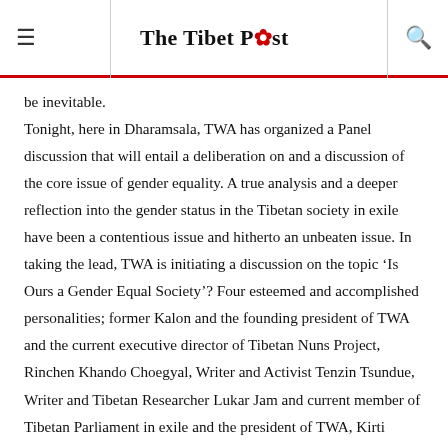The Tibet Post
be inevitable. Tonight, here in Dharamsala, TWA has organized a Panel discussion that will entail a deliberation on and a discussion of the core issue of gender equality. A true analysis and a deeper reflection into the gender status in the Tibetan society in exile have been a contentious issue and hitherto an unbeaten issue. In taking the lead, TWA is initiating a discussion on the topic ‘Is Ours a Gender Equal Society’? Four esteemed and accomplished personalities; former Kalon and the founding president of TWA and the current executive director of Tibetan Nuns Project, Rinchen Khando Choegyal, Writer and Activist Tenzin Tsundue, Writer and Tibetan Researcher Lukar Jam and current member of Tibetan Parliament in exile and the president of TWA, Kirti Dolkar Lhamo will address this concern. The discussion which will be moderated by Gang Lhamo, reporter of Tibet Express will be followed by a questions answer session that seeks to